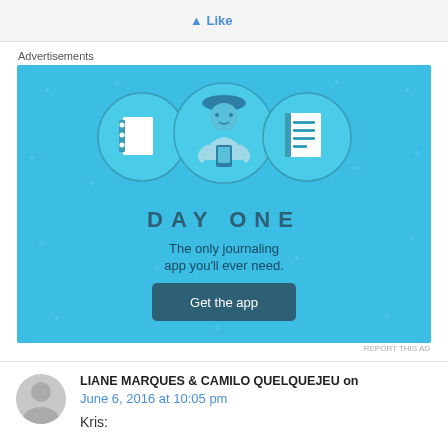[Figure (screenshot): Top bar with a blue Like button/link]
Advertisements
[Figure (illustration): Day One app advertisement on a light blue background. Shows icons of a notebook, a person using a phone, and a list/document. Text reads: DAY ONE - The only journaling app you'll ever need. Button: Get the app.]
REPORT THIS AD
LIANE MARQUES & CAMILO QUELQUEJEU on
June 6, 2016 at 10:05 pm
Kris: